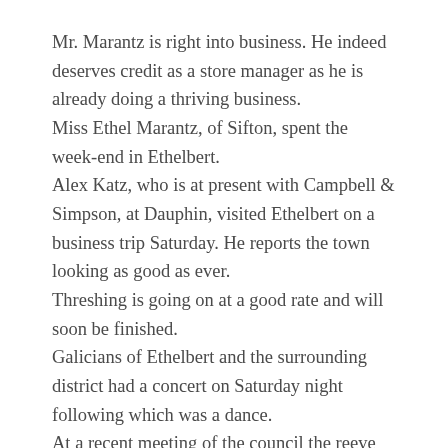Mr. Marantz is right into business. He indeed deserves credit as a store manager as he is already doing a thriving business.
Miss Ethel Marantz, of Sifton, spent the week-end in Ethelbert.
Alex Katz, who is at present with Campbell & Simpson, at Dauphin, visited Ethelbert on a business trip Saturday. He reports the town looking as good as ever.
Threshing is going on at a good rate and will soon be finished.
Galicians of Ethelbert and the surrounding district had a concert on Saturday night following which was a dance.
At a recent meeting of the council the reeve and one of the councillors had a lively set-to, in which blows